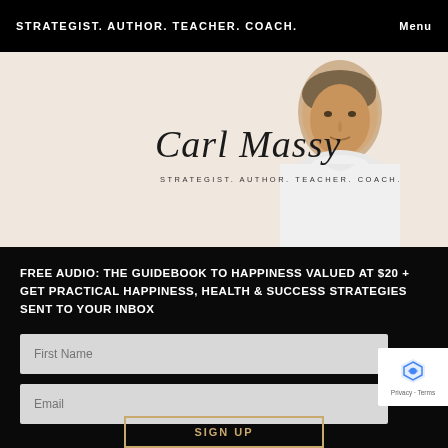STRATEGIST. AUTHOR. TEACHER. COACH.
[Figure (photo): Hero banner with Carl Massy signature in cursive script, tagline 'STRATEGIST. AUTHOR. TEACHER. COACH.' and a photo of a man in a white t-shirt against a light beige background.]
FREE AUDIO: THE GUIDEBOOK TO HAPPINESS VALUED AT $20 + GET PRACTICAL HAPPINESS, HEALTH & SUCCESS STRATEGIES SENT TO YOUR INBOX
First Name
Email
SIGN UP